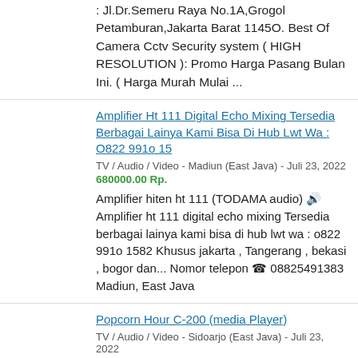: Jl.Dr.Semeru Raya No.1A,Grogol Petamburan,Jakarta Barat 1145O. Best Of Camera Cctv Security system ( HIGH RESOLUTION ): Promo Harga Pasang Bulan Ini. ( Harga Murah Mulai ...
Amplifier Ht 111 Digital Echo Mixing Tersedia Berbagai Lainya Kami Bisa Di Hub Lwt Wa : O822 991o 15
TV / Audio / Video - Madiun (East Java) - Juli 23, 2022
680000.00 Rp.
Amplifier hiten ht 111 (TODAMA audio) 🔊 Amplifier ht 111 digital echo mixing Tersedia berbagai lainya kami bisa di hub lwt wa : o822 991o 1582 Khusus jakarta , Tangerang , bekasi , bogor dan... Nomor telepon ☎ 08825491383 Madiun, East Java
Popcorn Hour C-200 (media Player)
TV / Audio / Video - Sidoarjo (East Java) - Juli 23, 2022
1000000.00 Rp.